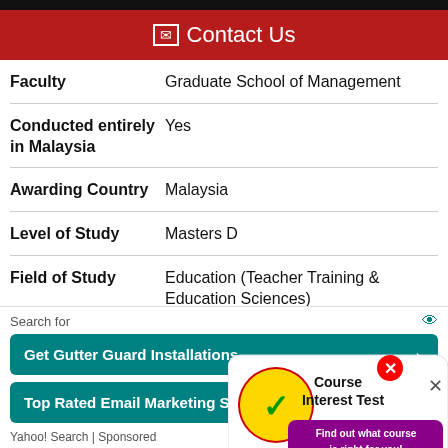✉ Contact Us
| Field | Value |
| --- | --- |
| Faculty | Graduate School of Management |
| Conducted entirely in Malaysia | Yes |
| Awarding Country | Malaysia |
| Level of Study | Masters D... |
| Field of Study | Education (Teacher Training & Education Sciences) |
[Figure (infographic): Course Interest Test advertisement overlay with Malaysian flag checkmark logo and a woman thinking, text: 'Course Interest Test — Find out what course is right for you!']
Search for
Get Gutter Guard Installations →
Top Rated Email Marketing Software →
Yahoo! Search | Sponsored